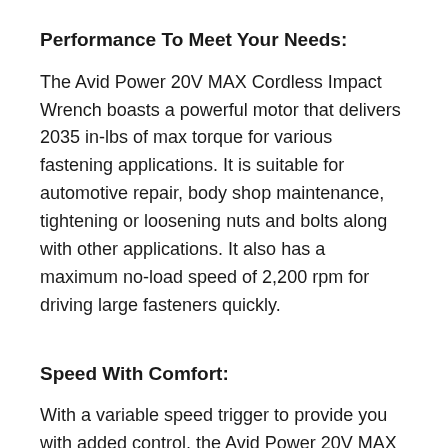Performance To Meet Your Needs:
The Avid Power 20V MAX Cordless Impact Wrench boasts a powerful motor that delivers 2035 in-lbs of max torque for various fastening applications. It is suitable for automotive repair, body shop maintenance, tightening or loosening nuts and bolts along with other applications. It also has a maximum no-load speed of 2,200 rpm for driving large fasteners quickly.
Speed With Comfort:
With a variable speed trigger to provide you with added control, the Avid Power 20V MAX Cordless Impact Wrench also makes use of LED lights to allow you to see more clearly in dark working areas. At only 3.3 pounds, this compact wrench can get into tighter